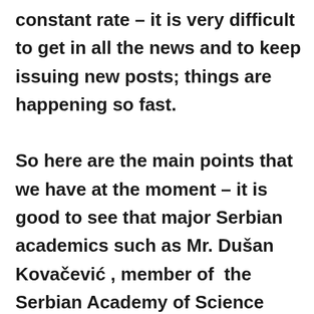constant rate – it is very difficult to get in all the news and to keep issuing new posts; things are happening so fast. So here are the main points that we have at the moment – it is good to see that major Serbian academics such as Mr. Dušan Kovačević , member of  the Serbian Academy of Science  and Art made some very strong comments in